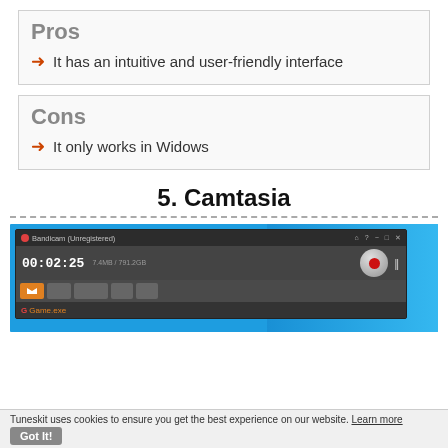Pros
It has an intuitive and user-friendly interface
Cons
It only works in Widows
5. Camtasia
[Figure (screenshot): Screenshot of Bandicam (Unregistered) screen recording software showing timer 00:02:25, file size 7.4MB / 791.2GB, record button, toolbar icons, and Game.exe entry, with blue background on right side]
Tuneskit uses cookies to ensure you get the best experience on our website. Learn more Got It!